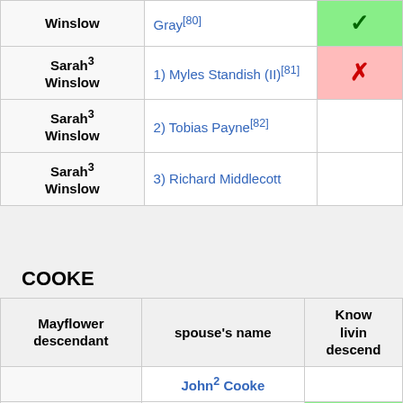| Mayflower descendant | spouse's name | Known living descendants |
| --- | --- | --- |
| Winslow | Gray[80] | ✓ |
| Sarah³ Winslow | 1) Myles Standish (II)[81] | ✗ |
| Sarah³ Winslow | 2) Tobias Payne[82] |  |
| Sarah³ Winslow | 3) Richard Middlecott |  |
COOKE
| Mayflower descendant | spouse's name | Known living descendants |
| --- | --- | --- |
|  | John² Cooke |  |
| Sarah³ Cooke | Arthur Hathaway | ✓ |